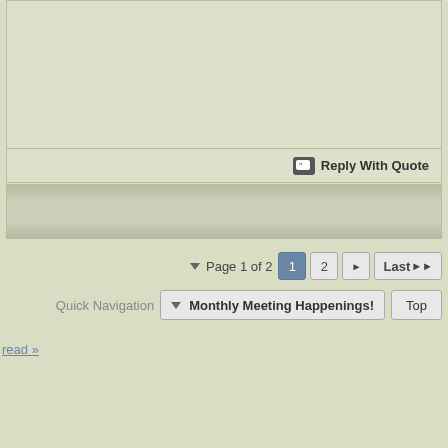Reply With Quote
Page 1 of 2  1  2  Last
Quick Navigation  Monthly Meeting Happenings!  Top
read »